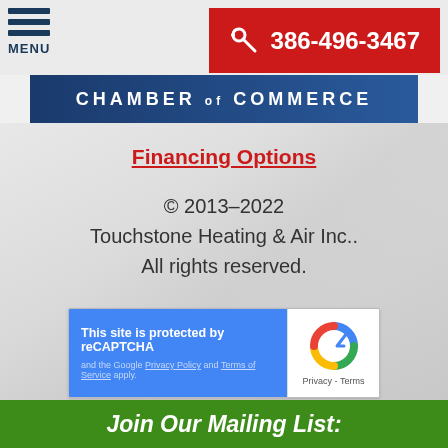MENU | 386-496-3467
[Figure (logo): Chamber of Commerce banner logo with blue background and white text]
Financing Options
© 2013–2022 Touchstone Heating & Air Inc.. All rights reserved.
[Figure (screenshot): reCAPTCHA widget - This site is protected by reCAPTCHA and the Google Privacy Policy and Terms of Service apply.]
Join Our Mailing List: